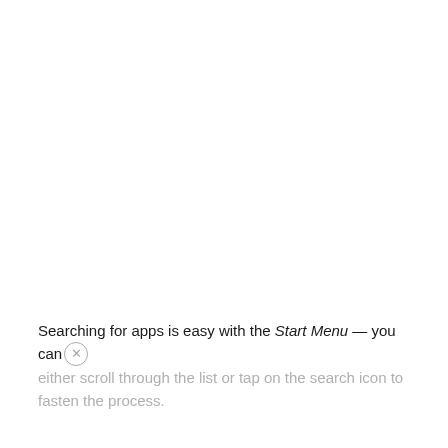Searching for apps is easy with the Start Menu — you can either scroll through the list or tap on the search icon to fasten the process.